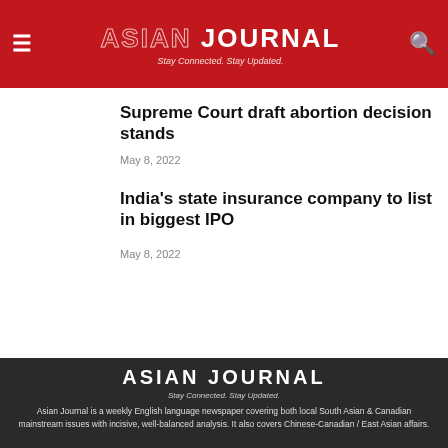ASIAN JOURNAL — Stay Connected. Stay Updated.
Supreme Court draft abortion decision stands
May 8, 2022
India's state insurance company to list in biggest IPO
May 8, 2022
ASIAN JOURNAL — Stay Connected. Stay Updated. — Asian Journal is a weekly English language newspaper covering both local South Asian & Canadian mainstream issues with incisive, well-balanced analysis. It also covers Chinese-Canadian / East Asian affairs.